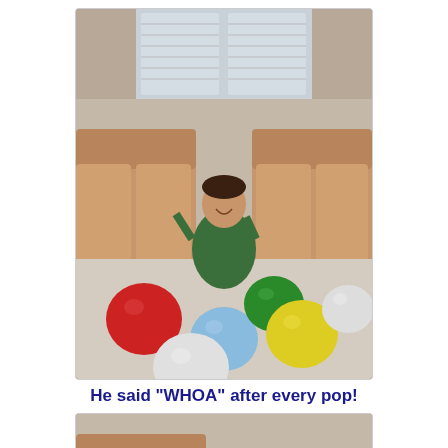[Figure (photo): Young toddler boy in a green jacket kneeling on carpet floor surrounded by colorful balloons (red, light blue, green, yellow, white). A tan leather sofa is visible in the background along with a window with blinds.]
He said "WHOA" after every pop!
[Figure (photo): Close-up photo of the top of a young child's head with dark hair, with a tan leather sofa visible in the background.]